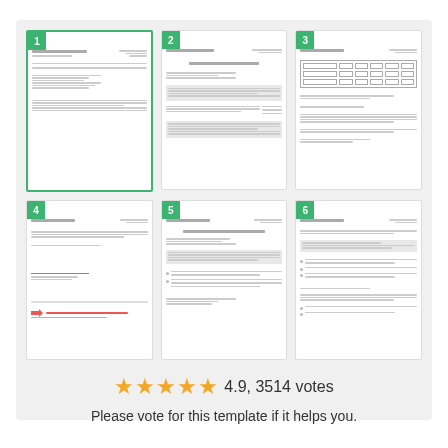[Figure (screenshot): Grid of 6 document page thumbnails numbered 1-6, page 1 highlighted with green border. Documents appear to be business letters and forms from 'Lalay Memories Inc.']
4.9, 3514 votes
Please vote for this template if it helps you.